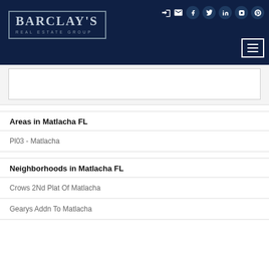BARCLAY'S REAL ESTATE GROUP
Areas in Matlacha FL
Pl03 - Matlacha
Neighborhoods in Matlacha FL
Crows 2Nd Plat Of Matlacha
Gearys Addn To Matlacha